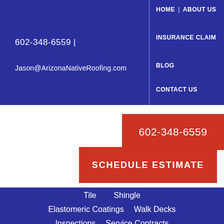602-348-6559 |
Jason@ArizonaNativeRoofing.com
HOME
ABOUT US
INSURANCE CLAIM
BLOG
CONTACT US
602-348-6559
SCHEDULE ESTIMATE
Tile
Shingle
Elastomeric Coatings
Walk Decks
Inspections
Service Contracts